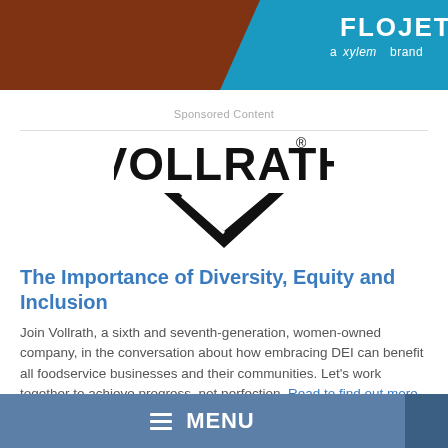[Figure (logo): Flojet - a xylem brand banner ad with orange/brown background and blue panel with white Flojet logo text]
Sponsored Content
[Figure (logo): Vollrath logo - bold black text with chevron/speed lines graphic underneath]
The Importance of Diversity, Equity and Inclusion
Join Vollrath, a sixth and seventh-generation, women-owned company, in the conversation about how embracing DEI can benefit all foodservice businesses and their communities. Let’s work together to achieve progress, not perfection. Read to find out more.
MENU